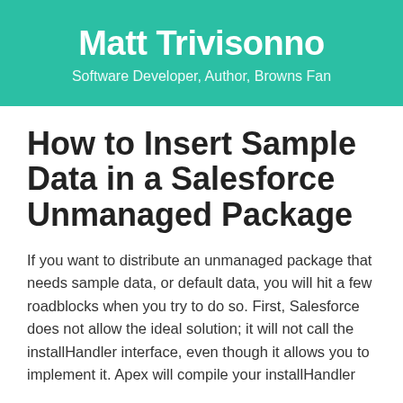Matt Trivisonno
Software Developer, Author, Browns Fan
How to Insert Sample Data in a Salesforce Unmanaged Package
If you want to distribute an unmanaged package that needs sample data, or default data, you will hit a few roadblocks when you try to do so. First, Salesforce does not allow the ideal solution; it will not call the installHandler interface, even though it allows you to implement it. Apex will compile your installHandler